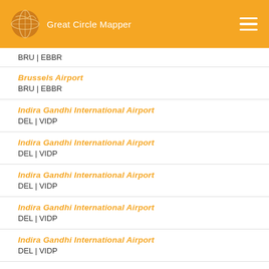Great Circle Mapper
BRU | EBBR
Brussels Airport
BRU | EBBR
Indira Gandhi International Airport
DEL | VIDP
Indira Gandhi International Airport
DEL | VIDP
Indira Gandhi International Airport
DEL | VIDP
Indira Gandhi International Airport
DEL | VIDP
Indira Gandhi International Airport
DEL | VIDP
Indira Gandhi International Airport
DEL | VIDP (partial)